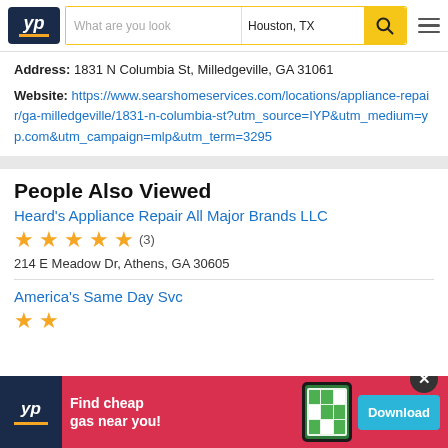YP - Houston, TX
Address: 1831 N Columbia St, Milledgeville, GA 31061
Website: https://www.searshomeservices.com/locations/appliance-repair/ga-milledgeville/1831-n-columbia-st?utm_source=IYP&utm_medium=yp.com&utm_campaign=mlp&utm_term=3295
People Also Viewed
Heard's Appliance Repair All Major Brands LLC
(3)
214 E Meadow Dr, Athens, GA 30605
America's Same Day Svc
[Figure (screenshot): YP advertisement banner: Find cheap gas near you! with Download button]